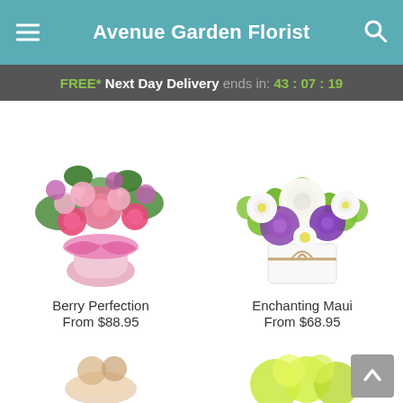Avenue Garden Florist
FREE* Next Day Delivery ends in: 43 : 07 : 19
[Figure (photo): Berry Perfection flower bouquet with pink roses, carnations, and alstroemeria in a pink vase with ribbon]
Berry Perfection
From $88.95
[Figure (photo): Enchanting Maui flower arrangement with white roses, purple chrysanthemums, white daisies, and green flowers in a white box tied with twine]
Enchanting Maui
From $68.95
[Figure (photo): Partial view of a flower bouquet at the bottom left of the page]
[Figure (photo): Partial view of a green and yellow flower arrangement at the bottom right of the page]